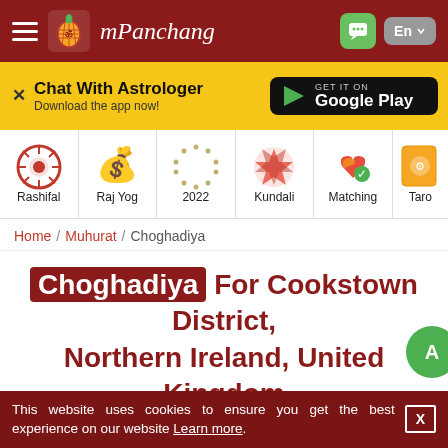mPanchang — En
[Figure (screenshot): Chat With Astrologer banner with Google Play download button]
[Figure (infographic): Navigation icons: Rashifal, Raj Yog, 2022, Kundali, Matching, Tarot]
Home / Muhurat / Choghadiya
Choghadiya For Cookstown District, Northern Ireland, United Kingdom September 1, 2022
This website uses cookies to ensure you get the best experience on our website Learn more.